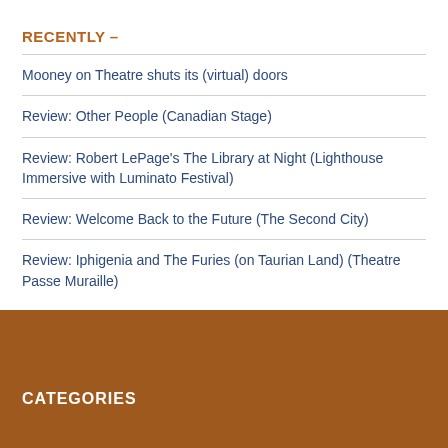RECENTLY –
Mooney on Theatre shuts its (virtual) doors
Review: Other People (Canadian Stage)
Review: Robert LePage's The Library at Night (Lighthouse Immersive with Luminato Festival)
Review: Welcome Back to the Future (The Second City)
Review: Iphigenia and The Furies (on Taurian Land) (Theatre Passe Muraille)
CATEGORIES